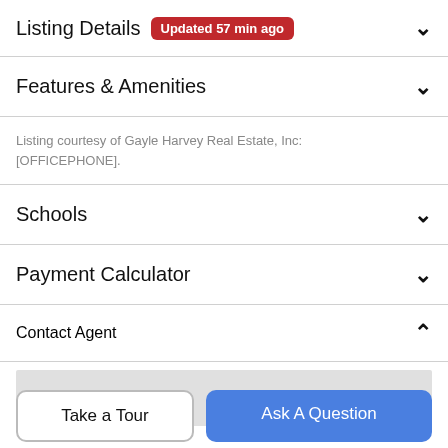Listing Details Updated 57 min ago
Features & Amenities
Listing courtesy of Gayle Harvey Real Estate, Inc: [OFFICEPHONE].
Schools
Payment Calculator
Contact Agent
Take a Tour
Ask A Question